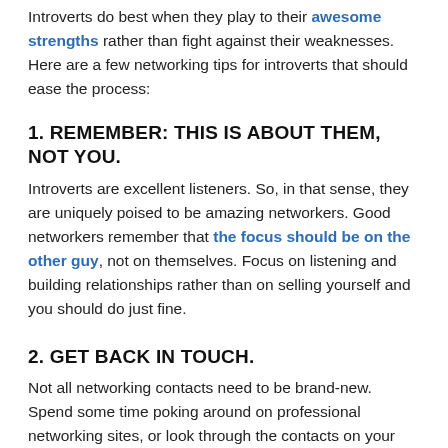Introverts do best when they play to their awesome strengths rather than fight against their weaknesses. Here are a few networking tips for introverts that should ease the process:
1. REMEMBER: THIS IS ABOUT THEM, NOT YOU.
Introverts are excellent listeners. So, in that sense, they are uniquely poised to be amazing networkers. Good networkers remember that the focus should be on the other guy, not on themselves. Focus on listening and building relationships rather than on selling yourself and you should do just fine.
2. GET BACK IN TOUCH.
Not all networking contacts need to be brand-new. Spend some time poking around on professional networking sites, or look through the contacts on your phone. Then, reach out to folks you've lost touch with.